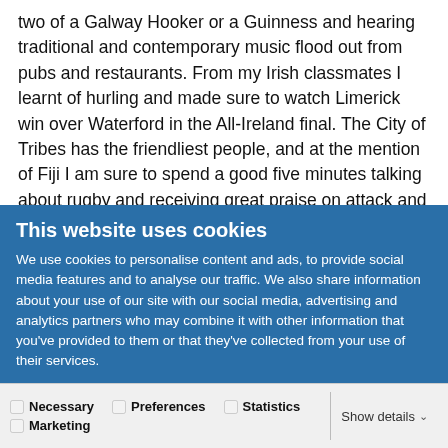two of a Galway Hooker or a Guinness and hearing traditional and contemporary music flood out from pubs and restaurants. From my Irish classmates I learnt of hurling and made sure to watch Limerick win over Waterford in the All-Ireland final. The City of Tribes has the friendliest people, and at the mention of Fiji I am sure to spend a good five minutes talking about rugby and receiving great praise on attack and coaching advice on better defense. This bohemian city inspires me on the daily to take in the breath-taking sights and fuels
This website uses cookies
We use cookies to personalise content and ads, to provide social media features and to analyse our traffic. We also share information about your use of our site with our social media, advertising and analytics partners who may combine it with other information that you've provided to them or that they've collected from your use of their services.
Allow all cookies
Allow selection
Use necessary cookies only
Necessary  Preferences  Statistics  Marketing  Show details